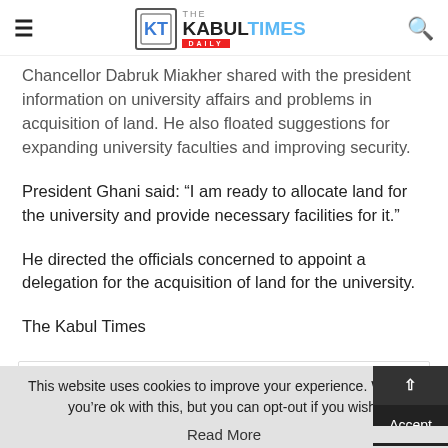THE KABUL TIMES DAILY
Chancellor Dabruk Miakher shared with the president information on university affairs and problems in acquisition of land. He also floated suggestions for expanding university faculties and improving security.
President Ghani said: “I am ready to allocate land for the university and provide necessary facilities for it.”
He directed the officials concerned to appoint a delegation for the acquisition of land for the university.
The Kabul Times
[Figure (other): Social sharing buttons including Facebook (blue), Twitter (light blue), and YouTube (red) buttons]
This website uses cookies to improve your experience. We’ll as you’re ok with this, but you can opt-out if you wish. Accept
Read More